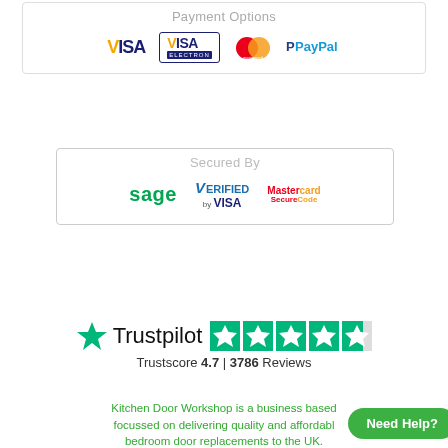[Figure (infographic): Payment Options box showing VISA, VISA Electron, Mastercard, and PayPal logos]
[Figure (infographic): Secured By box showing Sage, Verified by VISA, and Mastercard SecureCode logos]
[Figure (infographic): Trustpilot logo with green star and five rating stars]
Trustscore 4.7 | 3786 Reviews
Kitchen Door Workshop is a business based focussed on delivering quality and affordable bedroom door replacements to the UK.